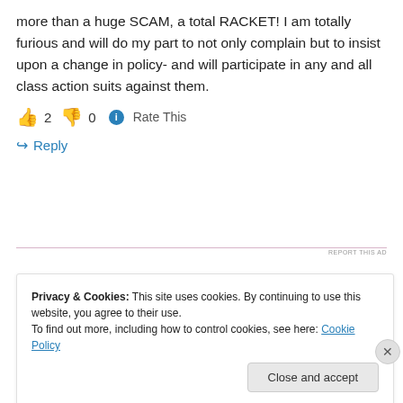more than a huge SCAM, a total RACKET! I am totally furious and will do my part to not only complain but to insist upon a change in policy- and will participate in any and all class action suits against them.
👍 2 👎 0 ℹ Rate This
↪ Reply
REPORT THIS AD
Privacy & Cookies: This site uses cookies. By continuing to use this website, you agree to their use.
To find out more, including how to control cookies, see here: Cookie Policy
Close and accept